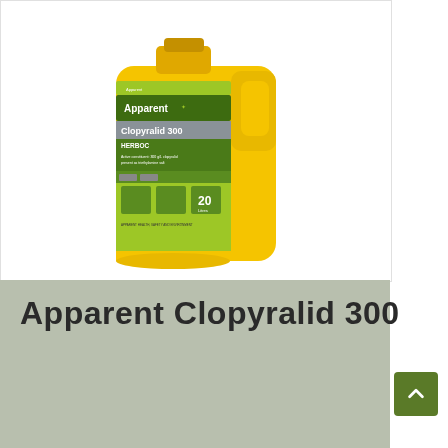[Figure (photo): Yellow plastic container/bottle of Apparent Clopyralid 300 herbicide with green label showing the product name, HERBOC designation, and '20' volume marking, displayed against a white background]
Apparent Clopyralid 300